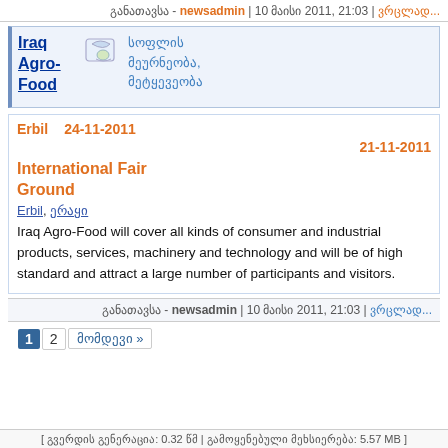განათავსა - newsadmin | 10 მაისი 2011, 21:03 |ვრცლად...
[Figure (other): Iraq Agro-Food event card with icon and Georgian category text სოფლის მეურნეობა, მეტყევეობა]
Erbil   24-11-2011
21-11-2011
International Fair Ground
Erbil, ერაყი
Iraq Agro-Food will cover all kinds of consumer and industrial products, services, machinery and technology and will be of high standard and attract a large number of participants and visitors.
განათავსა - newsadmin | 10 მაისი 2011, 21:03 |ვრცლად...
1  2  მომდევი »
[ გვერდის გენერაცია: 0.32 წმ | გამოყენებული მეხსიერება: 5.57 MB ]